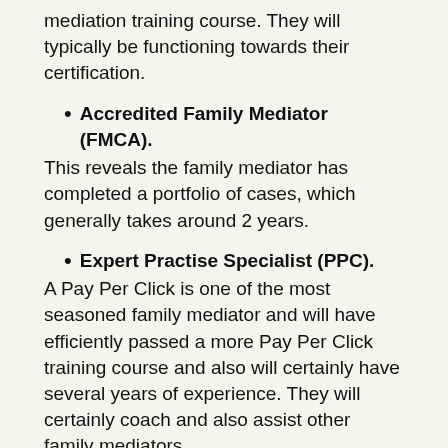mediation training course. They will typically be functioning towards their certification.
Accredited Family Mediator (FMCA). This reveals the family mediator has completed a portfolio of cases, which generally takes around 2 years.
Expert Practise Specialist (PPC). A Pay Per Click is one of the most seasoned family mediator and will have efficiently passed a more Pay Per Click training course and also will certainly have several years of experience. They will certainly coach and also assist other family mediators.
CAN OUR KIDS HAVE A SAY